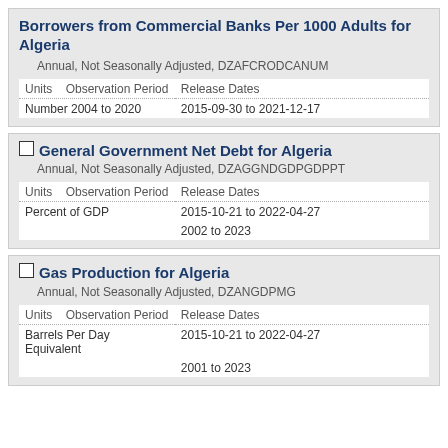Borrowers from Commercial Banks Per 1000 Adults for Algeria
Annual, Not Seasonally Adjusted, DZAFCRODCANUM
| Units | Observation Period | Release Dates |
| --- | --- | --- |
| Number 2004 to 2020 |  | 2015-09-30 to 2021-12-17 |
General Government Net Debt for Algeria
Annual, Not Seasonally Adjusted, DZAGGNDGDPGDPPT
| Units | Observation Period | Release Dates |
| --- | --- | --- |
| Percent of GDP |  | 2015-10-21 to 2022-04-27 |
|  |  | 2002 to 2023 |
Gas Production for Algeria
Annual, Not Seasonally Adjusted, DZANGDPMG
| Units | Observation Period | Release Dates |
| --- | --- | --- |
| Barrels Per Day Equivalent |  | 2015-10-21 to 2022-04-27 |
|  |  | 2001 to 2023 |